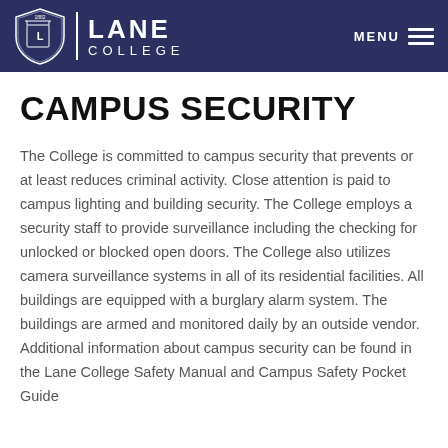[Figure (logo): Lane College logo with shield emblem and text 'LANE COLLEGE' in white on dark navy background header, with MENU navigation on the right]
CAMPUS SECURITY
The College is committed to campus security that prevents or at least reduces criminal activity. Close attention is paid to campus lighting and building security. The College employs a security staff to provide surveillance including the checking for unlocked or blocked open doors. The College also utilizes camera surveillance systems in all of its residential facilities. All buildings are equipped with a burglary alarm system. The buildings are armed and monitored daily by an outside vendor. Additional information about campus security can be found in the Lane College Safety Manual and Campus Safety Pocket Guide